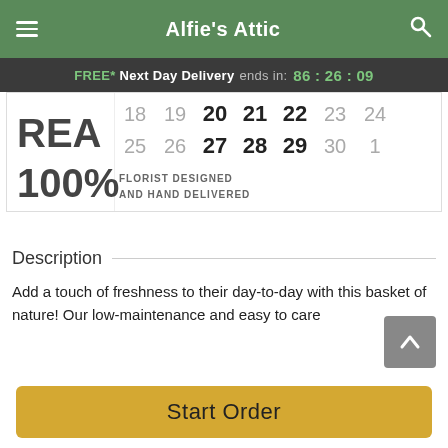Alfie's Attic
FREE* Next Day Delivery ends in: 86:26:09
[Figure (screenshot): Calendar date picker showing dates 18-24 and 25-1, with bold dates 20,21,22,27,28,29 and a product label showing RE... 100% FLORIST DESIGNED AND HAND DELIVERED]
Description
Add a touch of freshness to their day-to-day with this basket of nature! Our low-maintenance and easy to care